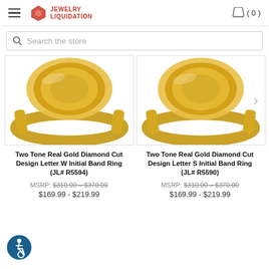Jewelry Liquidation — (0) cart
Search the store
[Figure (photo): Gold ring with diamond cut design letter W initial band ring, close-up product photo on white background]
[Figure (photo): Gold ring with diamond cut design letter S initial band ring, close-up product photo on white background]
Two Tone Real Gold Diamond Cut Design Letter W Initial Band Ring (JL# R5594)
MSRP: $310.00 – $370.00
$169.99 - $219.99
Two Tone Real Gold Diamond Cut Design Letter S Initial Band Ring (JL# R5590)
MSRP: $310.00 – $370.00
$169.99 - $219.99